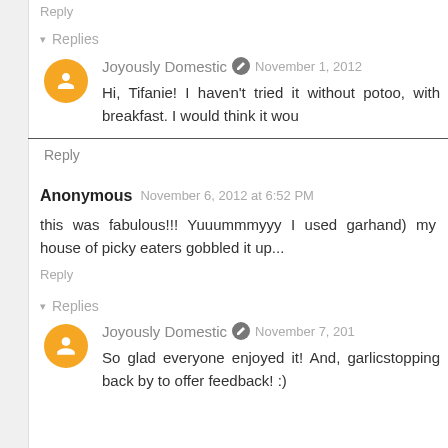Reply
▾ Replies
Joyously Domestic • November 1, 2012
Hi, Tifanie! I haven't tried it without po... too, with breakfast. I would think it wou...
Reply
Anonymous November 6, 2012 at 6:52 PM
this was fabulous!!! Yuuummmyyy I used gar... hand) my house of picky eaters gobbled it up...
Reply
▾ Replies
Joyously Domestic • November 7, 201...
So glad everyone enjoyed it! And, garlic... stopping back by to offer feedback! :)